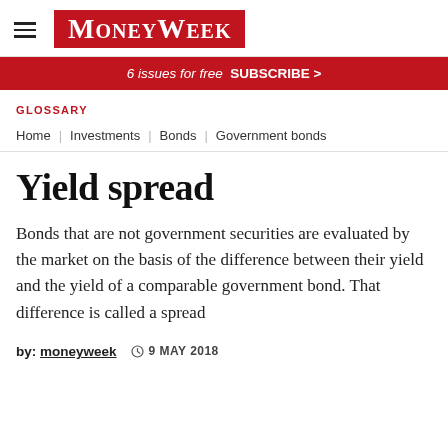MoneyWeek
6 issues for free  SUBSCRIBE >
GLOSSARY
Home | Investments | Bonds | Government bonds
Yield spread
Bonds that are not government securities are evaluated by the market on the basis of the difference between their yield and the yield of a comparable government bond. That difference is called a spread
by: moneyweek   9 MAY 2018